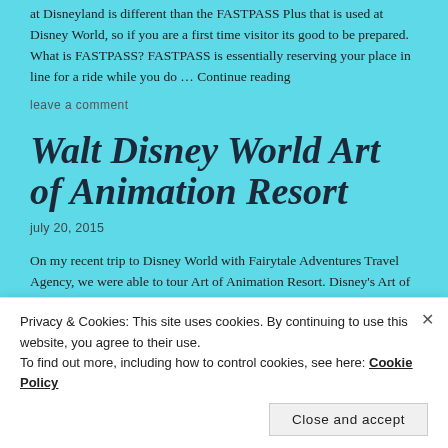at Disneyland is different than the FASTPASS Plus that is used at Disney World, so if you are a first time visitor its good to be prepared. What is FASTPASS? FASTPASS is essentially reserving your place in line for a ride while you do … Continue reading
leave a comment
Walt Disney World Art of Animation Resort
july 20, 2015
On my recent trip to Disney World with Fairytale Adventures Travel Agency, we were able to tour Art of Animation Resort. Disney's Art of Animation Resort opened in 2012 and has received rave reviews for their themed rooms
Privacy & Cookies: This site uses cookies. By continuing to use this website, you agree to their use.
To find out more, including how to control cookies, see here: Cookie Policy
Close and accept